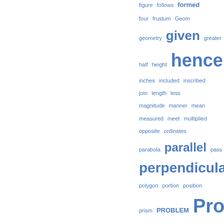[Figure (other): Word cloud of geometry/mathematics terms in blue, varying font sizes indicating frequency. Terms include: figure, follows, formed, four, frustum, Geom, geometry, given, greater, half, height, hence, inches, included, inscribed, join, length, less, magnitude, manner, mean, measured, meet, multiplied, opposite, ordinates, parabola, parallel, pass, perpendicular, plane, polygon, portion, position, prism, PROBLEM, Prop, proportional, PROPOSITION, pyramid, quantities, radius, ratio, rectangle, regular, represent, respectively, roundoid, right]